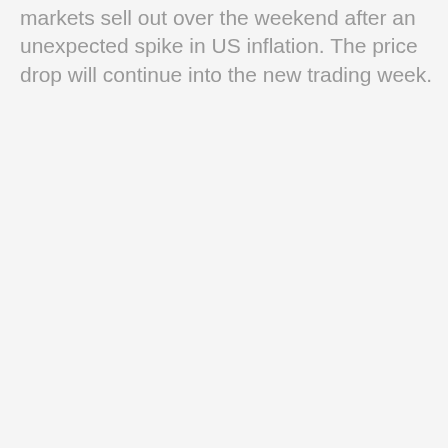markets sell out over the weekend after an unexpected spike in US inflation. The price drop will continue into the new trading week.